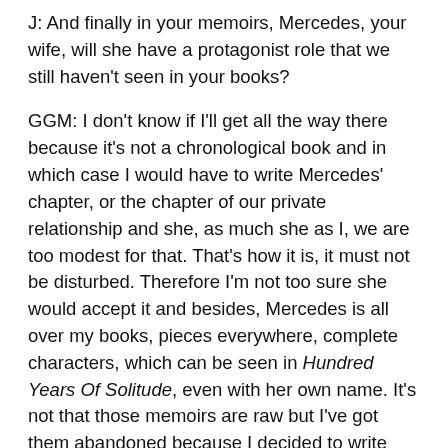J: And finally in your memoirs, Mercedes, your wife, will she have a protagonist role that we still haven't seen in your books?
GGM: I don't know if I'll get all the way there because it's not a chronological book and in which case I would have to write Mercedes' chapter, or the chapter of our private relationship and she, as much she as I, we are too modest for that. That's how it is, it must not be disturbed. Therefore I'm not too sure she would accept it and besides, Mercedes is all over my books, pieces everywhere, complete characters, which can be seen in Hundred Years Of Solitude, even with her own name. It's not that those memoirs are raw but I've got them abandoned because I decided to write them between two books and now it turns out I'm not leaving space between two [books] because I get out of one and go right away to